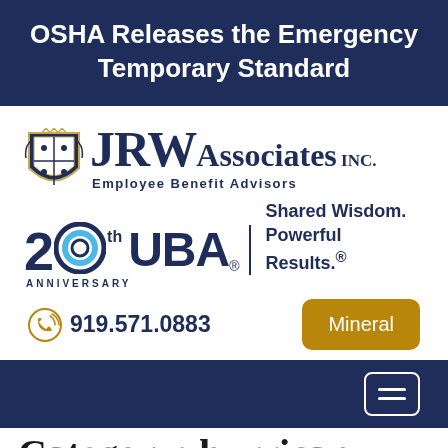OSHA Releases the Emergency Temporary Standard
[Figure (logo): JRW Associates Inc. Employee Benefit Advisors logo with coat of arms, and 20th Anniversary UBA logo with tagline Shared Wisdom. Powerful Results.]
919.571.0883
Mineral
Category: hurricane